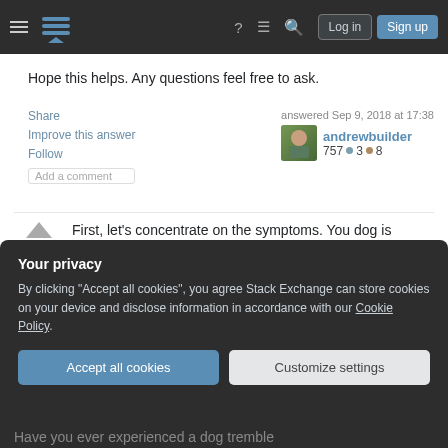Stack Exchange navigation bar with hamburger menu, logo, help, chat, search icons, Log in and Sign up buttons
Hope this helps. Any questions feel free to ask.
Share  Improve this answer  Follow  Add a comment  |  answered Sep 9, 2018 at 17:38  andrewbuilder  757 ●3 ●8
First, let's concentrate on the symptoms. You dog is looking away from you and sometimes shivering when you approach him.
Your privacy
By clicking "Accept all cookies", you agree Stack Exchange can store cookies on your device and disclose information in accordance with our Cookie Policy.
Accept all cookies  Customize settings
Have you ever experienced a dog tremble